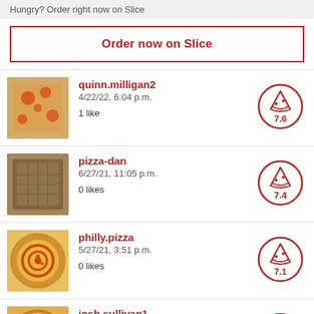Hungry? Order right now on Slice
Order now on Slice
quinn.milligan2 | 4/22/22, 6:04 p.m. | 1 like | score: 7.6
pizza-dan | 6/27/21, 11:05 p.m. | 0 likes | score: 7.4
philly.pizza | 5/27/21, 3:51 p.m. | 0 likes | score: 7.1
josh.sullivan1 | 12/20/20, 1:49 a.m. | score: 7.1